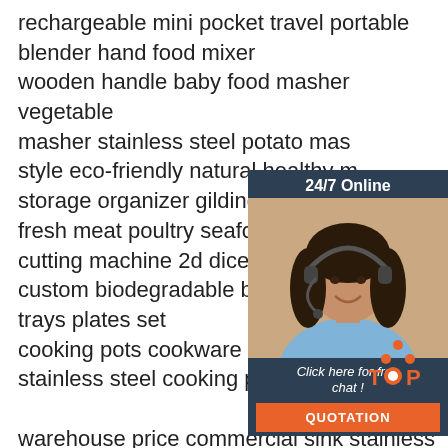rechargeable mini pocket travel portable blender hand food mixer
wooden handle baby food masher vegetable masher stainless steel potato masher style eco-friendly natural healthy m... storage organizer gilding marble tr... fresh meat poultry seafood multi fu... cutting machine 2d dicer slicer qkj2... custom biodegradable bamboo wo... trays plates set
cooking pots cookware set home k... stainless steel cooking pot
warehouse price commercial sink stainless steel sink table cabinet catering hotel
stainless steel 304 kitchen soup spoon h... iron chrome plate soup shell rack
2021filter mini coffee pot small hand-brewed
[Figure (photo): Customer service chat widget with a woman wearing a headset, '24/7 Online' header, 'Click here for free chat!' text, and orange QUOTATION button]
[Figure (logo): TOP logo with orange dot triangle pattern]